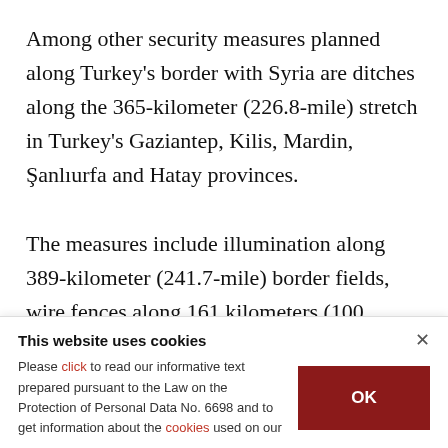Among other security measures planned along Turkey's border with Syria are ditches along the 365-kilometer (226.8-mile) stretch in Turkey's Gaziantep, Kilis, Mardin, Şanlıurfa and Hatay provinces.

The measures include illumination along 389-kilometer (241.7-mile) border fields, wire fences along 161 kilometers (100 miles) and renewing wires along at another 145-kilometer (90-mile) long
This website uses cookies
Please click to read our informative text prepared pursuant to the Law on the Protection of Personal Data No. 6698 and to get information about the cookies used on our